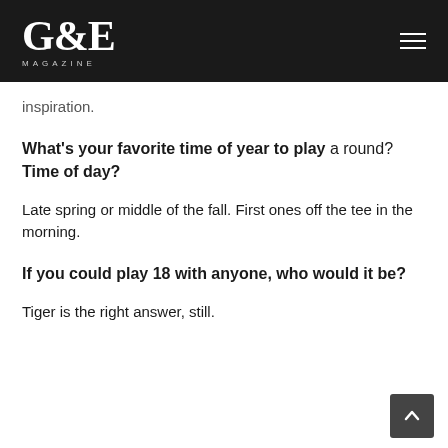G&E MAGAZINE
inspiration.
What's your favorite time of year to play a round? Time of day?
Late spring or middle of the fall. First ones off the tee in the morning.
If you could play 18 with anyone, who would it be?
Tiger is the right answer, still.